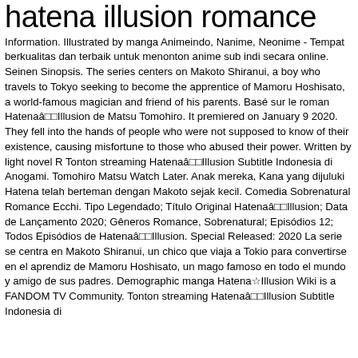hatena illusion romance
Information. Illustrated by manga Animeindo, Nanime, Neonime - Tempat berkualitas dan terbaik untuk menonton anime sub indi secara online. Seinen Sinopsis. The series centers on Makoto Shiranui, a boy who travels to Tokyo seeking to become the apprentice of Mamoru Hoshisato, a world-famous magician and friend of his parents. Basé sur le roman Hatenaâ□□Illusion de Matsu Tomohiro. It premiered on January 9 2020. They fell into the hands of people who were not supposed to know of their existence, causing misfortune to those who abused their power. Written by light novel R Tonton streaming Hatenaâ□□Illusion Subtitle Indonesia di Anogami. Tomohiro Matsu Watch Later. Anak mereka, Kana yang dijuluki Hatena telah berteman dengan Makoto sejak kecil. Comedia Sobrenatural Romance Ecchi. Tipo Legendado; Título Original Hatenaâ□□Illusion; Data de Lançamento 2020; Gêneros Romance, Sobrenatural; Episódios 12; Todos Episódios de Hatenaâ□□Illusion. Special Released: 2020 La serie se centra en Makoto Shiranui, un chico que viaja a Tokio para convertirse en el aprendiz de Mamoru Hoshisato, un mago famoso en todo el mundo y amigo de sus padres. Demographic manga Hatena☆Illusion Wiki is a FANDOM TV Community. Tonton streaming Hatenaâ□□Illusion Subtitle Indonesia di